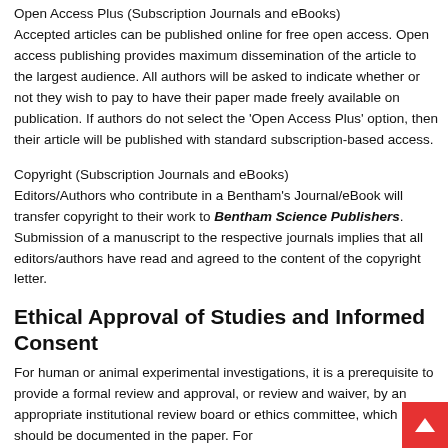Copyright and License
Open Access Plus (Subscription Journals and eBooks) Accepted articles can be published online for free open access. Open access publishing provides maximum dissemination of the article to the largest audience. All authors will be asked to indicate whether or not they wish to pay to have their paper made freely available on publication. If authors do not select the 'Open Access Plus' option, then their article will be published with standard subscription-based access.
Copyright (Subscription Journals and eBooks) Editors/Authors who contribute in a Bentham's Journal/eBook will transfer copyright to their work to Bentham Science Publishers. Submission of a manuscript to the respective journals implies that all editors/authors have read and agreed to the content of the copyright letter.
Ethical Approval of Studies and Informed Consent
For human or animal experimental investigations, it is a prerequisite to provide a formal review and approval, or review and waiver, by an appropriate institutional review board or ethics committee, which should be documented in the paper. For